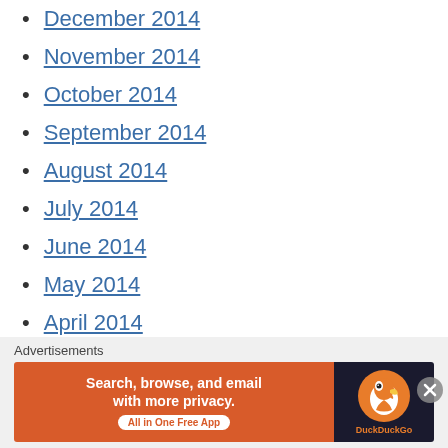December 2014
November 2014
October 2014
September 2014
August 2014
July 2014
June 2014
May 2014
April 2014
March 2014
February 2014
January 2014
December 2013
Advertisements — Search, browse, and email with more privacy. All in One Free App — DuckDuckGo